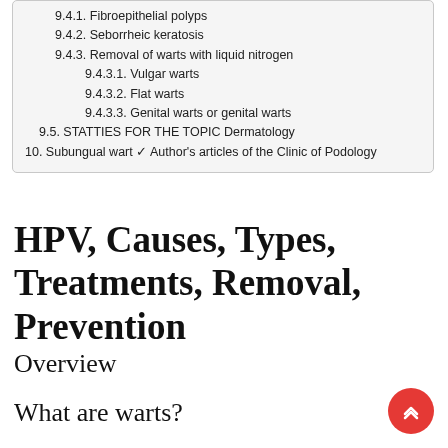9.4.1. Fibroepithelial polyps
9.4.2. Seborrheic keratosis
9.4.3. Removal of warts with liquid nitrogen
9.4.3.1. Vulgar warts
9.4.3.2. Flat warts
9.4.3.3. Genital warts or genital warts
9.5. STATTIES FOR THE TOPIC Dermatology
10. Subungual wart ✓ Author's articles of the Clinic of Podology
HPV, Causes, Types, Treatments, Removal, Prevention
Overview
What are warts?